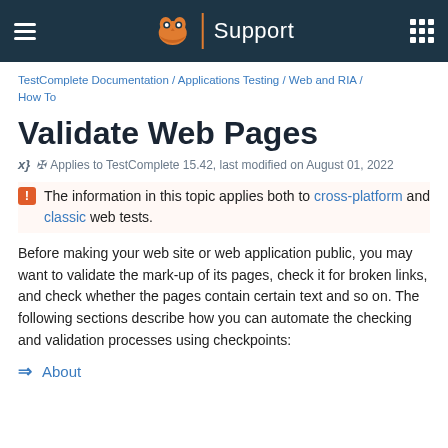Support
TestComplete Documentation / Applications Testing / Web and RIA / How To
Validate Web Pages
Applies to TestComplete 15.42, last modified on August 01, 2022
The information in this topic applies both to cross-platform and classic web tests.
Before making your web site or web application public, you may want to validate the mark-up of its pages, check it for broken links, and check whether the pages contain certain text and so on. The following sections describe how you can automate the checking and validation processes using checkpoints:
About